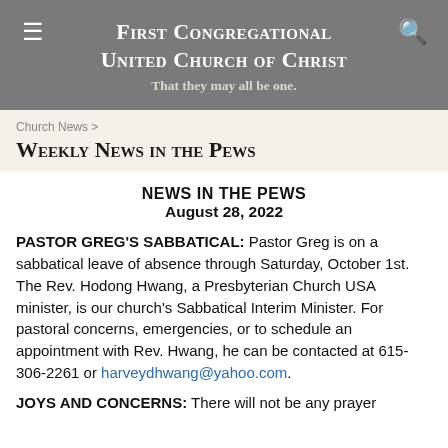First Congregational United Church of Christ
That they may all be one.
Church News >
Weekly News in the Pews
NEWS IN THE PEWS
August 28, 2022
PASTOR GREG'S SABBATICAL: Pastor Greg is on a sabbatical leave of absence through Saturday, October 1st. The Rev. Hodong Hwang, a Presbyterian Church USA minister, is our church's Sabbatical Interim Minister. For pastoral concerns, emergencies, or to schedule an appointment with Rev. Hwang, he can be contacted at 615-306-2261 or harveydhwang@yahoo.com.
JOYS AND CONCERNS: There will not be any prayer